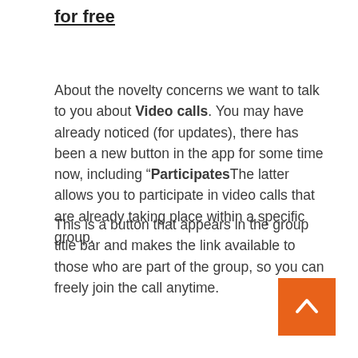for free
About the novelty concerns we want to talk to you about Video calls. You may have already noticed (for updates), there has been a new button in the app for some time now, including “ParticipatesThe latter allows you to participate in video calls that are already taking place within a specific group.
This is a button that appears in the group title bar and makes the link available to those who are part of the group, so you can freely join the call anytime.
[Figure (other): Orange back-to-top button with upward chevron arrow in bottom-right corner]